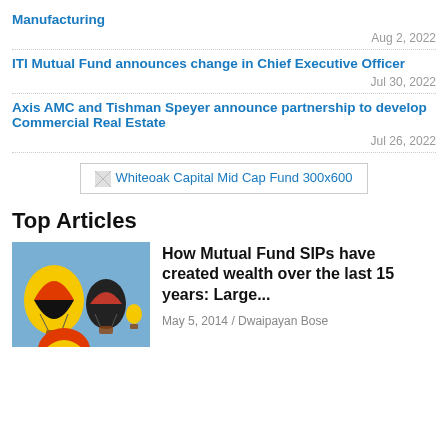Manufacturing
Aug 2, 2022
ITI Mutual Fund announces change in Chief Executive Officer
Jul 30, 2022
Axis AMC and Tishman Speyer announce partnership to develop Commercial Real Estate
Jul 26, 2022
[Figure (other): Advertisement banner: Whiteoak Capital Mid Cap Fund 300x600]
Top Articles
[Figure (photo): Photo of colorful hot air balloons against a blue sky]
How Mutual Fund SIPs have created wealth over the last 15 years: Large...
May 5, 2014 / Dwaipayan Bose